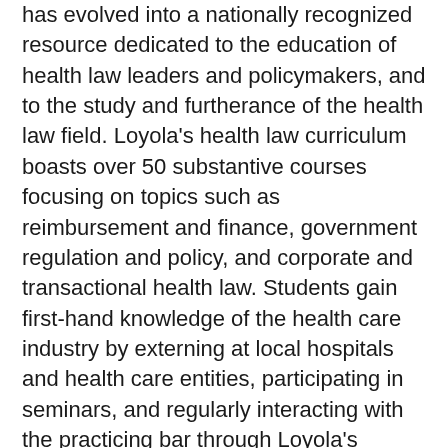has evolved into a nationally recognized resource dedicated to the education of health law leaders and policymakers, and to the study and furtherance of the health law field. Loyola's health law curriculum boasts over 50 substantive courses focusing on topics such as reimbursement and finance, government regulation and policy, and corporate and transactional health law. Students gain first-hand knowledge of the health care industry by externing at local hospitals and health care entities, participating in seminars, and regularly interacting with the practicing bar through Loyola's continuing education events. Students also enhance their knowledge by publishing the Institute's law review on health law and policy, Annals of Health Law. Each year, the Annals of Health Law Summer Issue is chiefly devoted to the annual Symposium topic that varies each year. Scholarly proceedings of this Symposium will be published in the Annals in 2017.